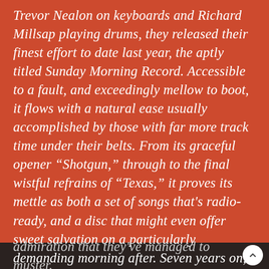Trevor Nealon on keyboards and Richard Millsap playing drums, they released their finest effort to date last year, the aptly titled Sunday Morning Record. Accessible to a fault, and exceedingly mellow to boot, it flows with a natural ease usually accomplished by those with far more track time under their belts. From its graceful opener “Shotgun,” through to the final wistful refrains of “Texas,” it proves its mettle as both a set of songs that's radio-ready, and a disc that might even offer sweet salvation on a particularly demanding morning after. Seven years on, they've earned all admiration that they've managed to muster.